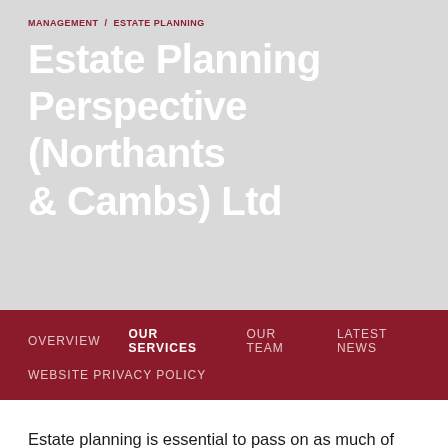MANAGEMENT / ESTATE PLANNING
Estate Planning Perspective (Northants & Cambs) Ltd
OVERVIEW   OUR SERVICES   OUR TEAM   LATEST NEWS   WEBSITE PRIVACY POLICY
Estate planning is essential to pass on as much of your wealth as possible to your family, rather than into the government coffers. The number of families in the UK paying Inheritance Tax has been steadily rising. Rising